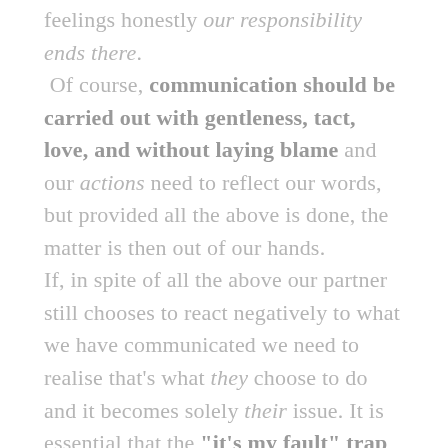feelings honestly our responsibility ends there. Of course, communication should be carried out with gentleness, tact, love, and without laying blame and our actions need to reflect our words, but provided all the above is done, the matter is then out of our hands. If, in spite of all the above our partner still chooses to react negatively to what we have communicated we need to realise that's what they choose to do and it becomes solely their issue. It is essential that the "it's my fault" trap be avoided because that only leads to emotional manipulation.